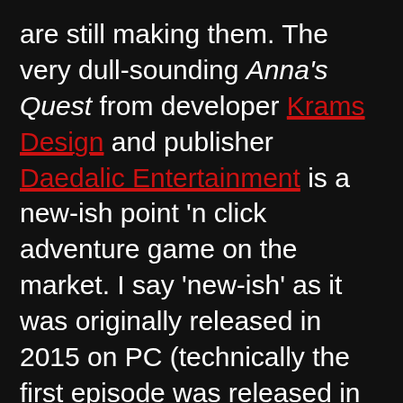are still making them. The very dull-sounding Anna's Quest from developer Krams Design and publisher Daedalic Entertainment is a new-ish point 'n click adventure game on the market. I say 'new-ish' as it was originally released in 2015 on PC (technically the first episode was released in 2012 before it was finished and released as a full game in 2015), but it has much more recently seen a port to all the consoles. But the big question is, is Anna's Quest a good graphic adventure game, or is it as boringly beige as the title sounds?